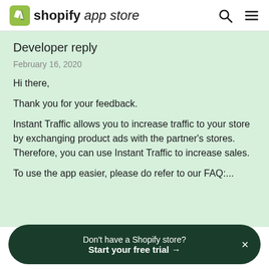shopify app store
Developer reply
February 16, 2020
Hi there,
Thank you for your feedback.
Instant Traffic allows you to increase traffic to your store by exchanging product ads with the partner's stores. Therefore, you can use Instant Traffic to increase sales.
To use the app easier, please do refer to our FAQ:...
Don't have a Shopify store? Start your free trial →